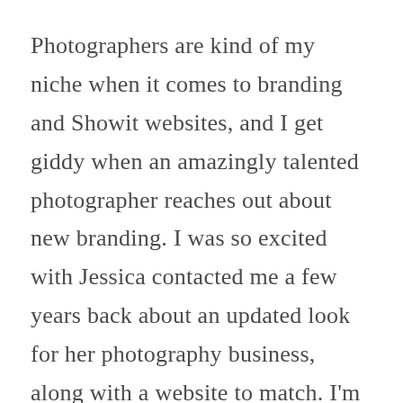Photographers are kind of my niche when it comes to branding and Showit websites, and I get giddy when an amazingly talented photographer reaches out about new branding. I was so excited with Jessica contacted me a few years back about an updated look for her photography business, along with a website to match. I'm [...]